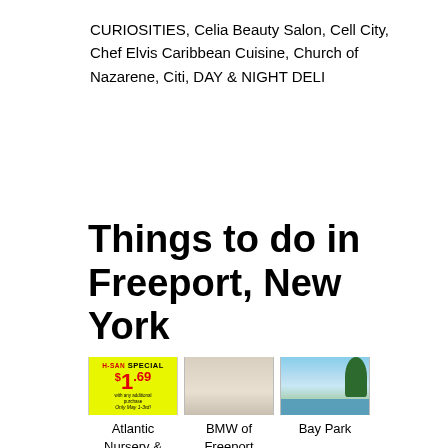CURIOSITIES, Celia Beauty Salon, Cell City, Chef Elvis Caribbean Cuisine, Church of Nazarene, Citi, DAY & NIGHT DELI
Things to do in Freeport, New York
[Figure (photo): Advertisement image for Atlantic Nursery & Garden Shop showing a yellow special offer sign with $1.69 price]
Atlantic Nursery & Garden Shop
[Figure (photo): Image of BMW of Freeport building exterior]
BMW of Freeport
[Figure (photo): Outdoor photo of Bay Park showing sky, water, and trees]
Bay Park